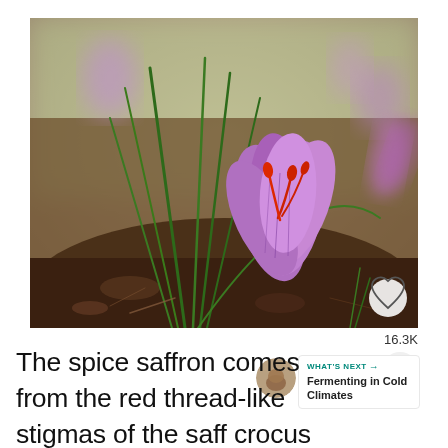[Figure (photo): Close-up photograph of a saffron crocus flower (Crocus sativus) with purple petals and red stigmas, growing from dark soil surrounded by slender green leaves. Background shows more blurred purple crocus flowers in a field setting.]
16.3K
The spice saffron comes from the red thread-like stigmas of the saff crocus (Crocus sativus). Each flower